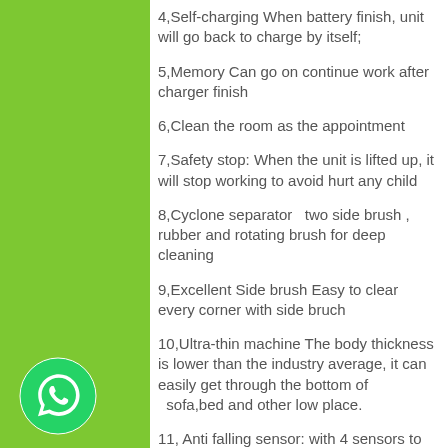4,Self-charging When battery finish, unit will go back to charge by itself;
5,Memory Can go on continue work after charger finish
6,Clean the room as the appointment
7,Safety stop: When the unit is lifted up, it will stop working to avoid hurt any child
8,Cyclone separator   two side brush , rubber and rotating brush for deep cleaning
9,Excellent Side brush Easy to clear every corner with side bruch
10,Ultra-thin machine The body thickness is lower than the industry average, it can easily get through the bottom of   sofa,bed and other low place.
11, Anti falling sensor: with 4 sensors to detect the stairs
[Figure (logo): WhatsApp logo icon - green circle with white phone handset]